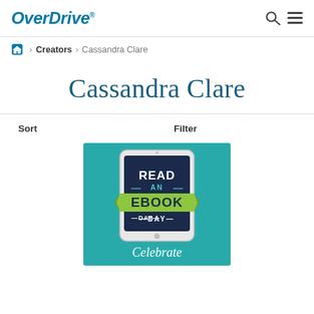OverDrive
Home > Creators > Cassandra Clare
Cassandra Clare
Sort   Filter
[Figure (illustration): Read an Ebook Day promotional banner on a teal background, showing a tablet device with 'READ AN EBOOK DAY' text and a green ribbon banner, with 'Celebrate' text below]
Celebrate